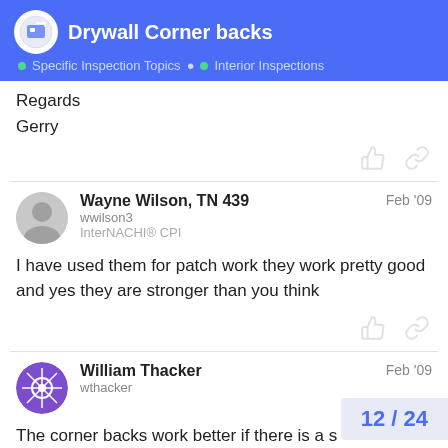Drywall Corner backs | Specific Inspection Topics > Interior Inspections
Regards

Gerry
Wayne Wilson, TN 439 | wwilson3 | InterNACHI® CPI | Feb '09
I have used them for patch work they work pretty good and yes they are stronger than you think
William Thacker | wthacker | Feb '09
The corner backs work better if there is a s
The farther away the stud is, the more flex
12 / 24